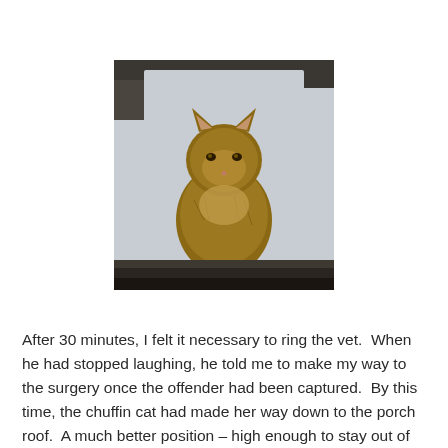[Figure (photo): A fluffy tabby cat sitting on a rooftop ledge or gutter, viewed from below/behind, with a light sky background and dark roof tiles visible.]
After 30 minutes, I felt it necessary to ring the vet.  When he had stopped laughing, he told me to make my way to the surgery once the offender had been captured.  By this time, the chuffin cat had made her way down to the porch roof.  A much better position – high enough to stay out of